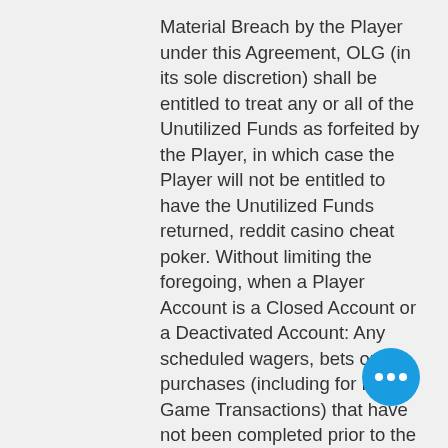Material Breach by the Player under this Agreement, OLG (in its sole discretion) shall be entitled to treat any or all of the Unutilized Funds as forfeited by the Player, in which case the Player will not be entitled to have the Unutilized Funds returned, reddit casino cheat poker. Without limiting the foregoing, when a Player Account is a Closed Account or a Deactivated Account: Any scheduled wagers, bets or purchases (including for Future Game Transactions) that have not been completed prior to the Closure or Deactivation will be cancelled; the Player will not be entitled to receive any offers for new Bonus Funds, and any existing Bonus Funds associated with the Player Account will be cancelled and the Player will not be entitled to receive any compensation in respect of the cancelled Bonus Funds; and this Agreement will terminate, except for the provisions which by their nature are intended
[Figure (other): Blue circular chat button with three white dots]